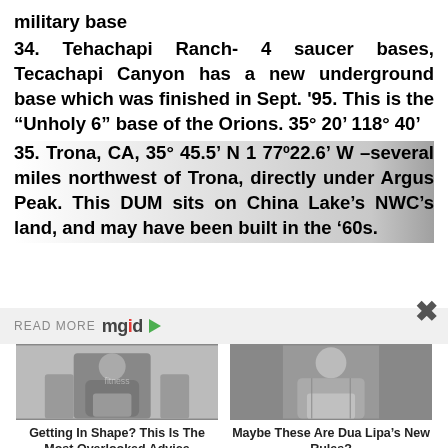military base
34. Tehachapi Ranch- 4 saucer bases, Tecachapi Canyon has a new underground base which was finished in Sept. '95. This is the “Unholy 6” base of the Orions. 35° 20’ 118° 40’
35. Trona, CA, 35° 45.5’ N 1 77º22.6’ W –several miles northwest of Trona, directly under Argus Peak. This DUM sits on China Lake’s NWC’s land, and may have been built in the ‘60s.
READ MORE mgid
[Figure (photo): Black and white photo of a muscular woman flexing in athletic wear]
Getting In Shape? This Is The Most Overlooked Advice
[Figure (photo): Black and white photo of a blonde woman posing]
Maybe These Are Dua Lipa’s New Rules?